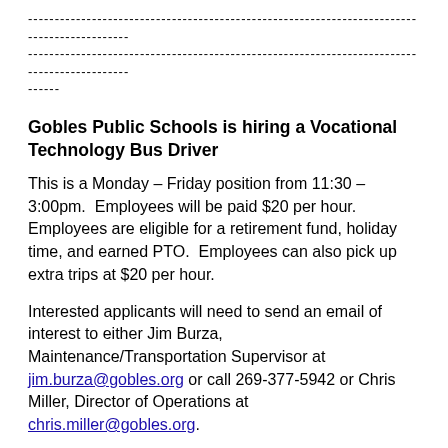--------------------------------------------------------------------------------------------
--------------------------------------------------------------------------------------------
------
Gobles Public Schools is hiring a Vocational Technology Bus Driver
This is a Monday – Friday position from 11:30 – 3:00pm.  Employees will be paid $20 per hour.  Employees are eligible for a retirement fund, holiday time, and earned PTO.  Employees can also pick up extra trips at $20 per hour.
Interested applicants will need to send an email of interest to either Jim Burza, Maintenance/Transportation Supervisor at jim.burza@gobles.org or call 269-377-5942 or Chris Miller, Director of Operations at chris.miller@gobles.org.